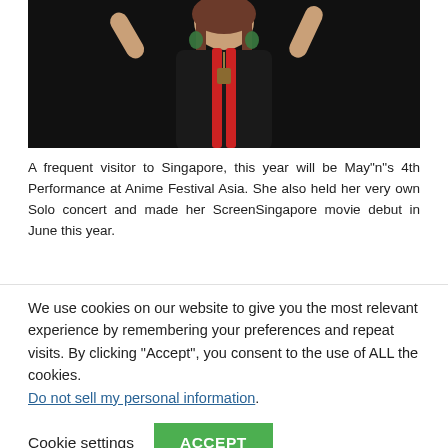[Figure (photo): A woman in a black outfit with red sash/scarf and green earrings, posing against a dark background, arms raised]
A frequent visitor to Singapore, this year will be May"n"s 4th Performance at Anime Festival Asia. She also held her very own Solo concert and made her ScreenSingapore movie debut in June this year.
We use cookies on our website to give you the most relevant experience by remembering your preferences and repeat visits. By clicking “Accept”, you consent to the use of ALL the cookies. Do not sell my personal information.
Cookie settings
ACCEPT